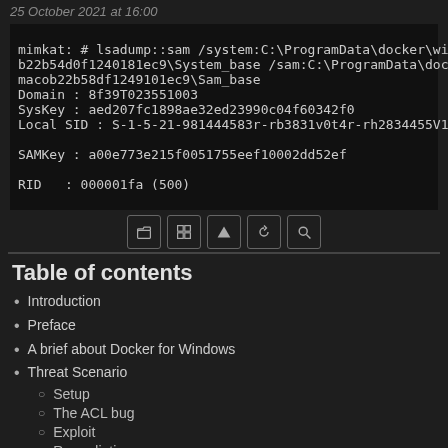25 October 2021 at 16:00
[Figure (screenshot): Terminal/command-line screenshot showing mimikatz output with Docker Windows filter paths, Domain, SysKey, Local SID, SAMKey, and RID fields]
[Figure (other): Toolbar with 5 icon buttons: folder, grid, triangle/upload, refresh, and search]
Table of contents
Introduction
Preface
A brief about Docker for Windows
Threat Scenario
Setup
The ACL bug
Exploit
Remediation
References